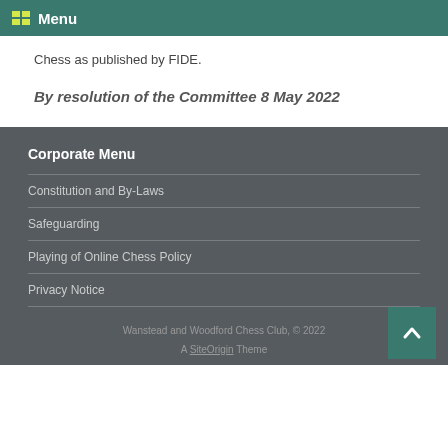Menu
Chess as published by FIDE.
By resolution of the Committee 8 May 2022
Corporate Menu
Constitution and By-Laws
Safeguarding
Playing of Online Chess Policy
Privacy Notice
Wanstead and Woodford Chess Club, © 2022
A SiteOrigin Theme